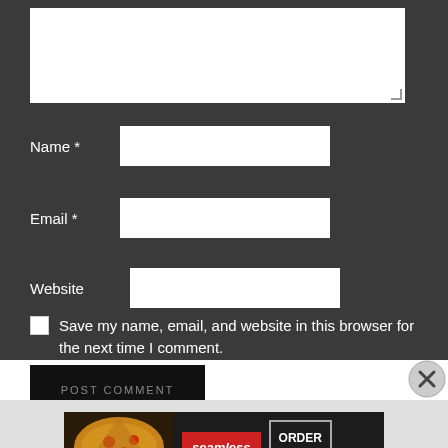[Figure (screenshot): Web comment form with dark background showing textarea, Name, Email, Website input fields, a checkbox for saving info, and POST COMMENT button]
Name *
Email *
Website
Save my name, email, and website in this browser for the next time I comment.
POST COMMENT
[Figure (other): Seamless food delivery advertisement banner showing pizza image on left, Seamless logo in red, and ORDER NOW button on dark background]